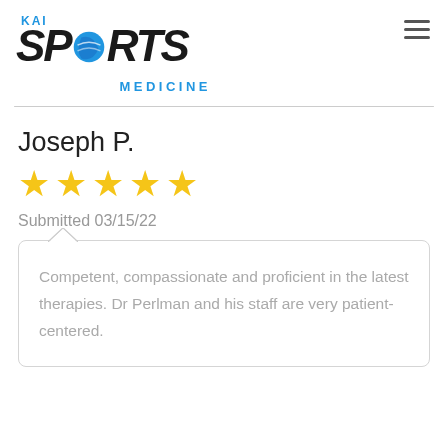[Figure (logo): KAI Sports Medicine logo with globe icon replacing the O in SPORTS]
Joseph P.
[Figure (other): 5 yellow star rating icons]
Submitted 03/15/22
Competent, compassionate and proficient in the latest therapies. Dr Perlman and his staff are very patient-centered.